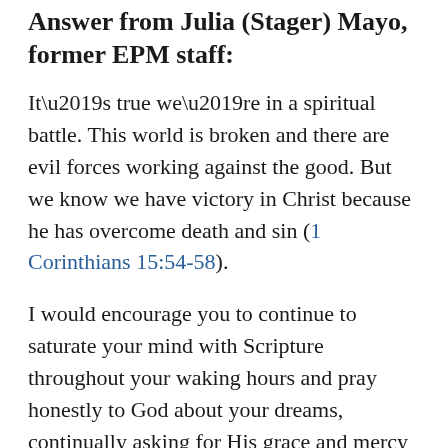Answer from Julia (Stager) Mayo, former EPM staff:
It’s true we’re in a spiritual battle. This world is broken and there are evil forces working against the good. But we know we have victory in Christ because he has overcome death and sin (1 Corinthians 15:54-58).
I would encourage you to continue to saturate your mind with Scripture throughout your waking hours and pray honestly to God about your dreams, continually asking for His grace and mercy to purify your mind. He knows your struggles better than you do, and will strengthen you.